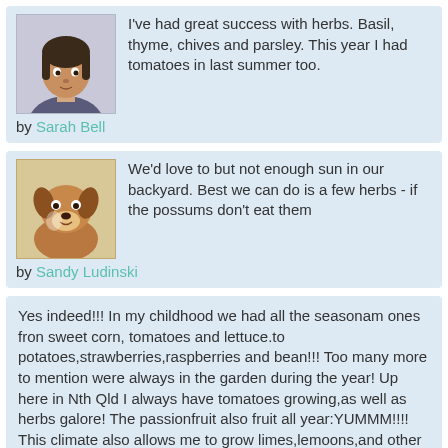I've had great success with herbs. Basil, thyme, chives and parsley. This year I had tomatoes in last summer too.
by Sarah Bell
We'd love to but not enough sun in our backyard. Best we can do is a few herbs - if the possums don't eat them
by Sandy Ludinski
Yes indeed!!! In my childhood we had all the seasonam ones fron sweet corn, tomatoes and lettuce.to potatoes,strawberries,raspberries and bean!!! Too many more to mention were always in the garden during the year! Up here in Nth Qld I always have tomatoes growing,as well as herbs galore! The passionfruit also fruit all year:YUMMM!!!! This climate also allows me to grow limes,lemoons,and other citrus,sweet potato,and many rare troipical fruits as well. I am definitely Blessed beyond any hope and all expectation.